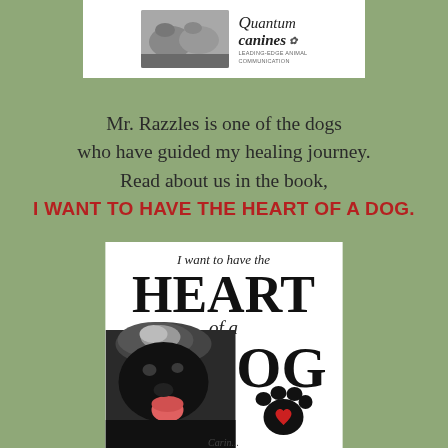[Figure (logo): Quantum Canines logo: black and white photo of dogs on left, text 'Quantum Canines' with paw icon and tagline on right, on white background]
Mr. Razzles is one of the dogs who have guided my healing journey. Read about us in the book, I WANT TO HAVE THE HEART OF A DOG.
[Figure (photo): Book cover for 'I want to have the HEART of a DOG' featuring a large black shaggy dog with tongue out, a paw print with red heart, and author name at bottom]